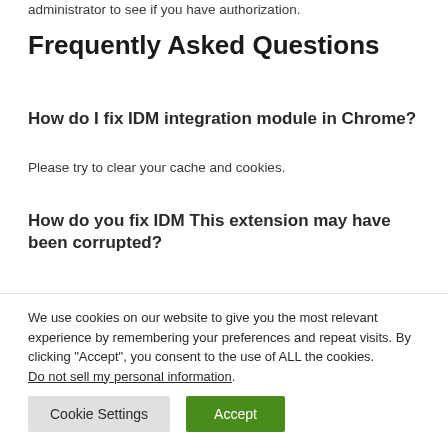administrator to see if you have authorization.
Frequently Asked Questions
How do I fix IDM integration module in Chrome?
Please try to clear your cache and cookies.
How do you fix IDM This extension may have been corrupted?
If you are using IDM, please try the following steps.
How do I fix a Chrome extension error?
We use cookies on our website to give you the most relevant experience by remembering your preferences and repeat visits. By clicking "Accept", you consent to the use of ALL the cookies. Do not sell my personal information.